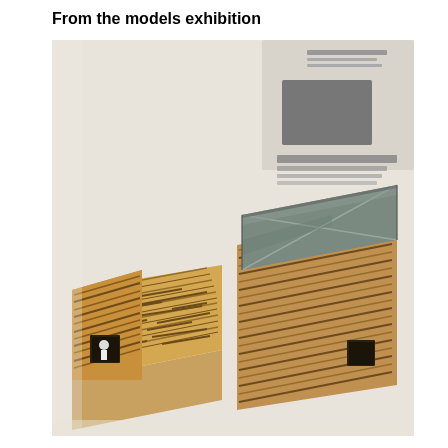From the models exhibition
[Figure (photo): Photograph of two architectural scale models on a white table surface. Left model shows a rectangular building with layered wooden strip cladding on the roof and sides, with a small opening/window. Right model is the interior/open version of the same building showing a metal/zinc open tray-like interior with diagonal lines, also with a small opening. Japanese exhibition materials visible in upper right background.]